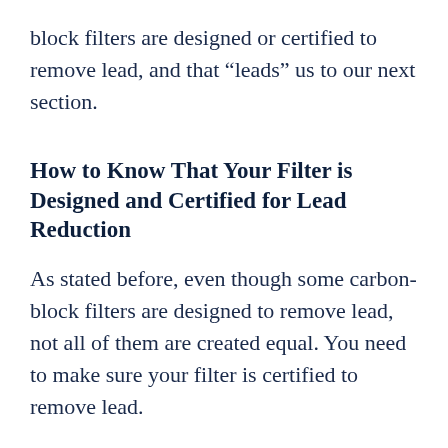block filters are designed or certified to remove lead, and that “leads” us to our next section.
How to Know That Your Filter is Designed and Certified for Lead Reduction
As stated before, even though some carbon-block filters are designed to remove lead, not all of them are created equal. You need to make sure your filter is certified to remove lead.